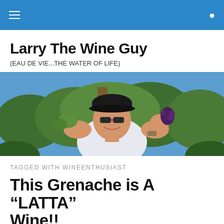Larry The Wine Guy
(EAU DE VIE...THE WATER OF LIFE)
[Figure (photo): A smiling man wearing a black cap and sunglasses holding grape clusters in a vineyard with green vines and blue sky in background]
TAGGED WITH WINEENTHUSIAST
This Grenache is A “LATTA” Wine!!